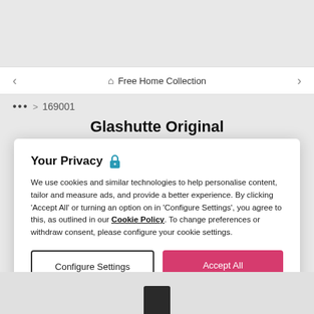[Figure (screenshot): Top gray background area of a web page]
Free Home Collection
••• > 169001
Glashutte Original
Your Privacy 🔒
We use cookies and similar technologies to help personalise content, tailor and measure ads, and provide a better experience. By clicking 'Accept All' or turning an option on in 'Configure Settings', you agree to this, as outlined in our Cookie Policy. To change preferences or withdraw consent, please configure your cookie settings.
Configure Settings
Accept All